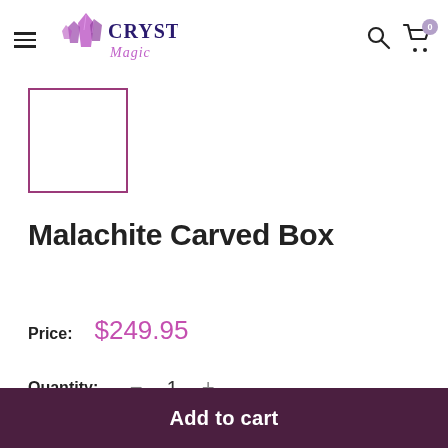Crystal Magic — navigation header with logo, search, and cart icons
[Figure (other): Product thumbnail placeholder box with purple border]
Malachite Carved Box
Price: $249.95
Quantity: − 1 +
Add to cart